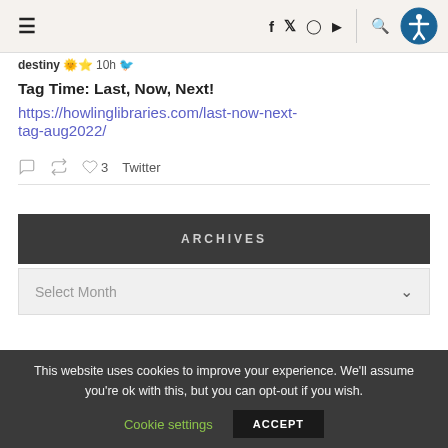≡  f  𝕏  ◎  ▶  🔍  [accessibility icon]
destiny 🔆⭐ 10h 🐦
Tag Time: Last, Now, Next!
https://howlinglibraries.com/last-now-next-tag-aug2022/
💬  🔁  ♡ 3  Twitter
ARCHIVES
Select Month
This website uses cookies to improve your experience. We'll assume you're ok with this, but you can opt-out if you wish.
Cookie settings  ACCEPT